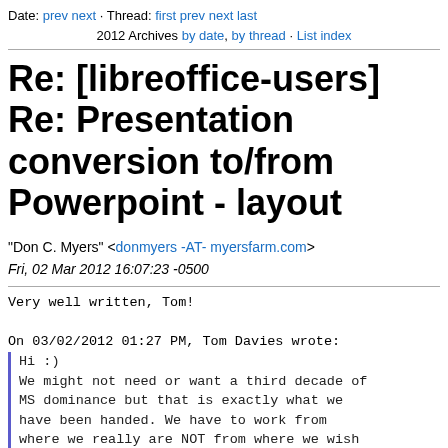Date: prev next · Thread: first prev next last 2012 Archives by date, by thread · List index
Re: [libreoffice-users] Re: Presentation conversion to/from Powerpoint - layout
"Don C. Myers" <donmyers -AT- myersfarm.com>
Fri, 02 Mar 2012 16:07:23 -0500
Very well written, Tom!

On 03/02/2012 01:27 PM, Tom Davies wrote:
  Hi :)
  We might not need or want a third decade of
  MS dominance but that is exactly what we
  have been handed. We have to work from
  where we really are NOT from where we wish
  we were. We cannot rely on people starting
  to use LibreOffice and magically already